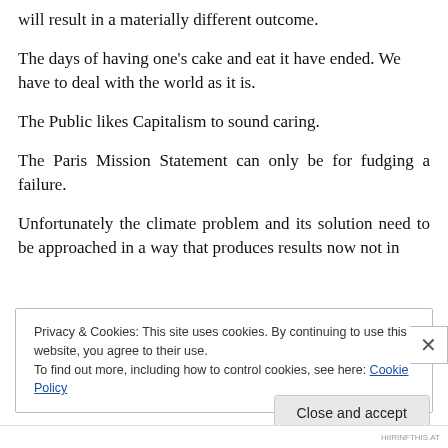will result in a materially different outcome.
The days of having one’s cake and eat it have ended. We have to deal with the world as it is.
The Public likes Capitalism to sound caring.
The Paris Mission Statement can only be for fudging a failure.
Unfortunately the climate problem and its solution need to be approached in a way that produces results now not in
Privacy & Cookies: This site uses cookies. By continuing to use this website, you agree to their use.
To find out more, including how to control cookies, see here: Cookie Policy
Close and accept